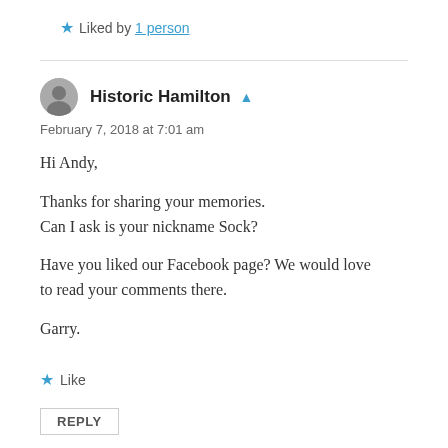Liked by 1 person
Historic Hamilton
February 7, 2018 at 7:01 am
Hi Andy,

Thanks for sharing your memories.
Can I ask is your nickname Sock?

Have you liked our Facebook page? We would love to read your comments there.

Garry.
Like
REPLY